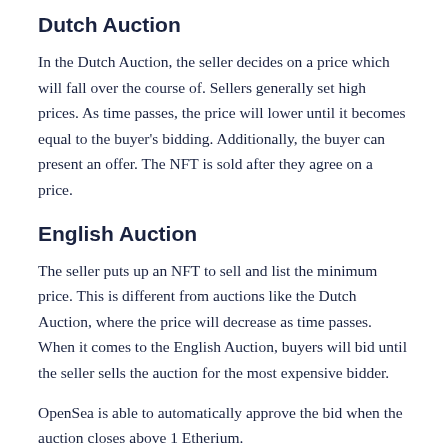Dutch Auction
In the Dutch Auction, the seller decides on a price which will fall over the course of. Sellers generally set high prices. As time passes, the price will lower until it becomes equal to the buyer's bidding. Additionally, the buyer can present an offer. The NFT is sold after they agree on a price.
English Auction
The seller puts up an NFT to sell and list the minimum price. This is different from auctions like the Dutch Auction, where the price will decrease as time passes. When it comes to the English Auction, buyers will bid until the seller sells the auction for the most expensive bidder.
OpenSea is able to automatically approve the bid when the auction closes above 1 Etherium.